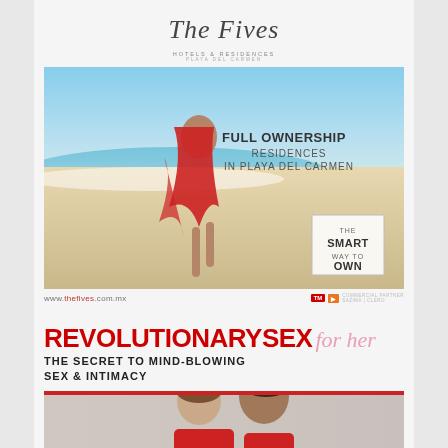[Figure (logo): The Fives Hotels & Residences, Playa Del Carmen logo in cursive script]
[Figure (photo): Advertisement for The Fives Hotels showing woman in red dress on beach with text: FULL OWNERSHIP RESIDENCES IN PLAYA DEL CARMEN, THE SMART WAY TO OWN]
www.thefives.com.mx
REVOLUTIONARY SEX for her THE SECRET TO MIND-BLOWING SEX & INTIMACY
[Figure (photo): Couple photo at bottom of page, partial view of two people]